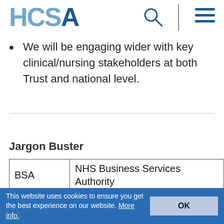HCSA
We will be engaging wider with key clinical/nursing stakeholders at both Trust and national level.
Jargon Buster
| Abbreviation | Definition |
| --- | --- |
| BSA | NHS Business Services Authority |
| CCS | Crown Commercial Service |
| FBC | Financial Business Case |
| FOM | Future Operating Model |
| GLD | Government Legal Department |
| HOP | Head of Procurement |
This website uses cookies to ensure you get the best experience on our website. More info.